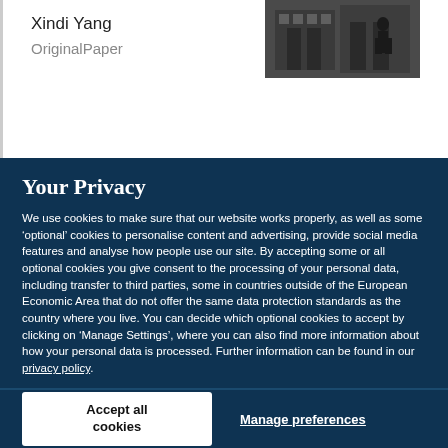Xindi Yang
OriginalPaper
[Figure (photo): Black and white thumbnail photograph showing a person near a building or doorway]
Your Privacy
We use cookies to make sure that our website works properly, as well as some ‘optional’ cookies to personalise content and advertising, provide social media features and analyse how people use our site. By accepting some or all optional cookies you give consent to the processing of your personal data, including transfer to third parties, some in countries outside of the European Economic Area that do not offer the same data protection standards as the country where you live. You can decide which optional cookies to accept by clicking on ‘Manage Settings’, where you can also find more information about how your personal data is processed. Further information can be found in our privacy policy.
Accept all cookies
Manage preferences